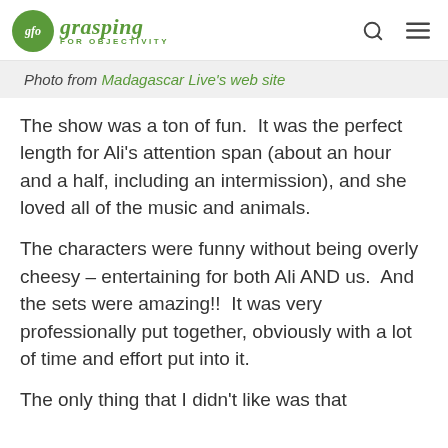gfo grasping FOR OBJECTIVITY
Photo from Madagascar Live's web site
The show was a ton of fun.  It was the perfect length for Ali’s attention span (about an hour and a half, including an intermission), and she loved all of the music and animals.
The characters were funny without being overly cheesy – entertaining for both Ali AND us.  And the sets were amazing!!  It was very professionally put together, obviously with a lot of time and effort put into it.
The only thing that I didn’t like was that